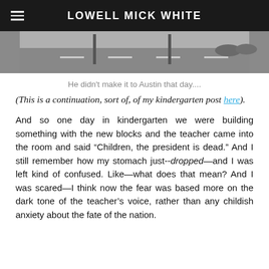LOWELL MICK WHITE
[Figure (photo): Black and white photo of a parking lot or road with lamp posts and some trees/shrubs in the background.]
He didn't make it to Austin that day....
(This is a continuation, sort of, of my kindergarten post here).
And so one day in kindergarten we were building something with the new blocks and the teacher came into the room and said “Children, the president is dead.” And I still remember how my stomach just--dropped—and I was left kind of confused. Like—what does that mean? And I was scared—I think now the fear was based more on the dark tone of the teacher’s voice, rather than any childish anxiety about the fate of the nation.